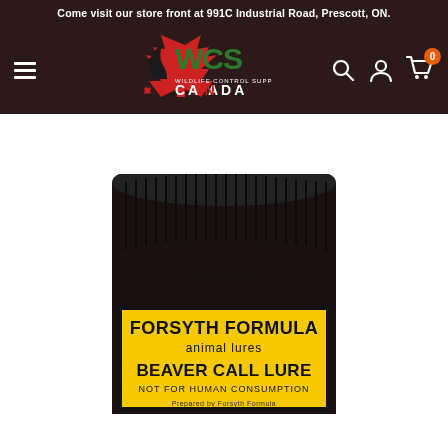Come visit our store front at 991C Industrial Road, Prescott, ON.
[Figure (logo): WCS Wildlife Control Supplies Canada logo with wolf/dog silhouette and maple leaf]
[Figure (photo): Close-up photo of a black jar with yellow label reading FORSYTH FORMULA animal lures BEAVER CALL LURE NOT FOR HUMAN CONSUMPTION]